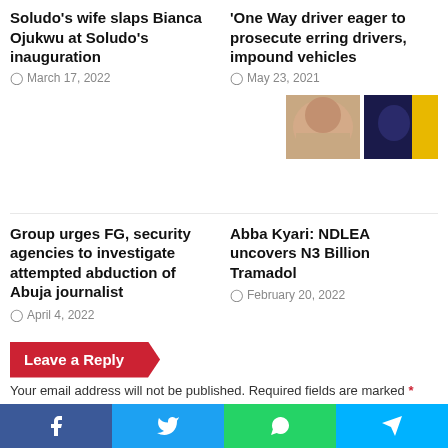Soludo's wife slaps Bianca Ojukwu at Soludo's inauguration
March 17, 2022
One Way driver eager to prosecute erring drivers, impound vehicles
May 23, 2021
[Figure (photo): Two thumbnail images: one showing a person's face, another with a dark blue/yellow background]
Group urges FG, security agencies to investigate attempted abduction of Abuja journalist
April 4, 2022
Abba Kyari: NDLEA uncovers N3 Billion  Tramadol
February 20, 2022
Leave a Reply
Your email address will not be published. Required fields are marked *
Social share buttons: Facebook, Twitter, WhatsApp, Telegram